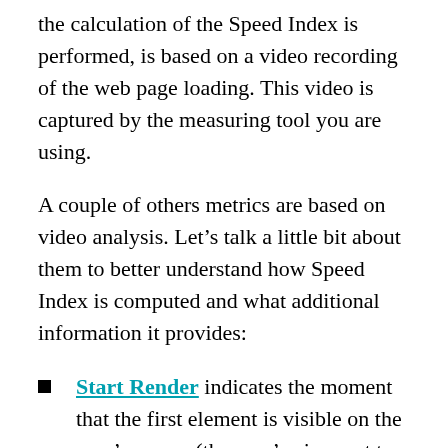the calculation of the Speed Index is performed, is based on a video recording of the web page loading. This video is captured by the measuring tool you are using.
A couple of others metrics are based on video analysis. Let's talk a little bit about them to better understand how Speed Index is computed and what additional information it provides:
Start Render indicates the moment that the first element is visible on the user's screen (the user's viewport to be precise, as the video analysis only concerns the visible